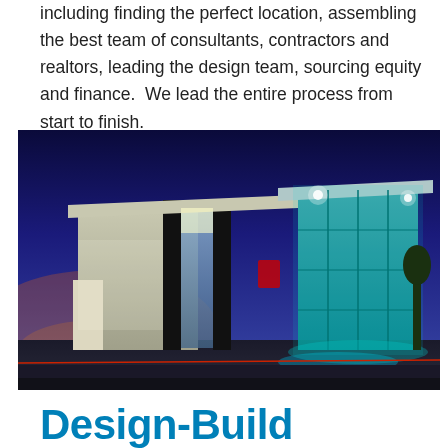including finding the perfect location, assembling the best team of consultants, contractors and realtors, leading the design team, sourcing equity and finance.  We lead the entire process from start to finish.
[Figure (photo): Exterior night photograph of a modern commercial building with large glass curtain wall facade, illuminated with teal/blue lighting, dark blue twilight sky in background, parking lot in foreground.]
Design-Build